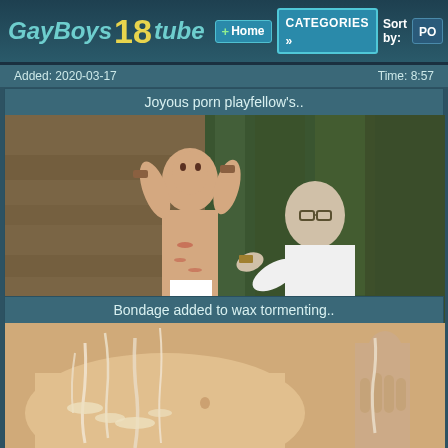GayBoys 18 tube | Home | CATEGORIES | Sort by: PO
Added: 2020-03-17    Time: 8:57
Joyous porn playfellow's..
[Figure (photo): Two men outdoors against a stone wall]
Added: 2021-08-12    Time: 7:05
Bondage added to wax tormenting..
[Figure (photo): Close-up torso with wax]